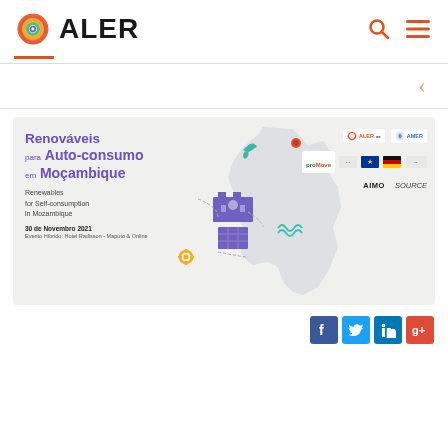[Figure (logo): ALER logo with colorful spiral icon and bold black ALER text]
[Figure (screenshot): Event banner for Renováveis para Auto-consumo em Moçambique / Renewables for Self-consumption in Mozambique, dated 30 de Novembro 2021, Evento Híbrido: Hotel Radisson - Maputo & Online, with partner logos including ALER, AMER, proMove, EU, German flag, AIMO, SOURCE, and a stylized map of Mozambique with energy icons.]